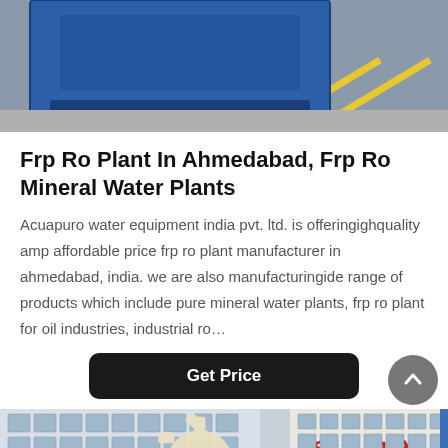[Figure (photo): Photo of blue industrial equipment/machinery on a warehouse floor with yellow lines on the ground.]
Frp Ro Plant In Ahmedabad, Frp Ro Mineral Water Plants
Acuapuro water equipment india pvt. ltd. is offeringighquality amp affordable price frp ro plant manufacturer in ahmedabad, india. we are also manufacturingide range of products which include pure mineral water plants, frp ro plant for oil industries, industrial ro…
[Figure (photo): Photo of a building with a large decorative gear sculpture in front and Chinese text on the building facade.]
Leave Message   Chat Online